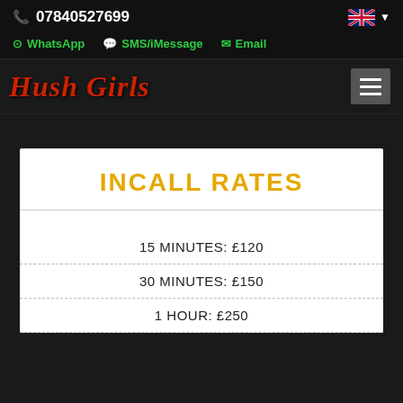07840527699
WhatsApp  SMS/iMessage  Email
Hush Girls
INCALL RATES
15 MINUTES: £120
30 MINUTES: £150
1 HOUR: £250